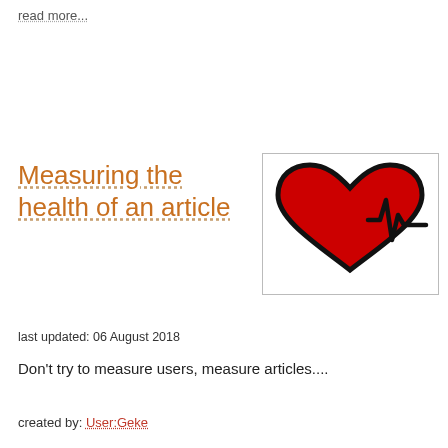read more...
Measuring the health of an article
[Figure (illustration): Heart with EKG/heartbeat line icon — a red heart shape with a black ECG/heartbeat waveform extending to the right, black outline, white background, inside a light grey border box]
last updated: 06 August 2018
Don't try to measure users, measure articles....
created by: User:Geke